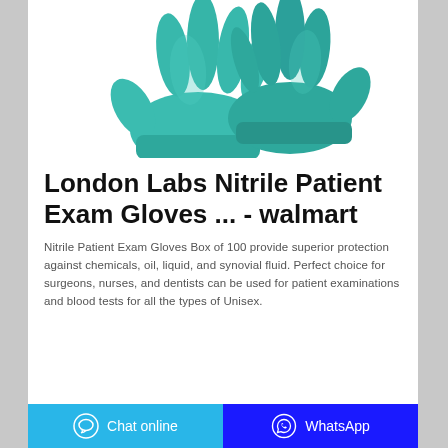[Figure (photo): Two teal/turquoise nitrile exam gloves displayed against a white background, shown from the front with fingers spread.]
London Labs Nitrile Patient Exam Gloves ... - walmart
Nitrile Patient Exam Gloves Box of 100 provide superior protection against chemicals, oil, liquid, and synovial fluid. Perfect choice for surgeons, nurses, and dentists can be used for patient examinations and blood tests for all the types of Unisex.
Chat online   WhatsApp